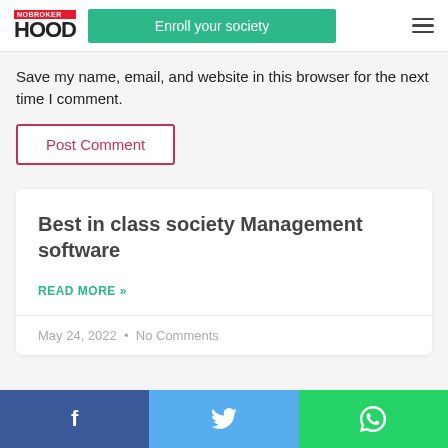NOBROKER HOOD — Enroll your society
Save my name, email, and website in this browser for the next time I comment.
Post Comment
Best in class society Management software
READ MORE »
May 24, 2022 · No Comments
Facebook · Twitter · WhatsApp